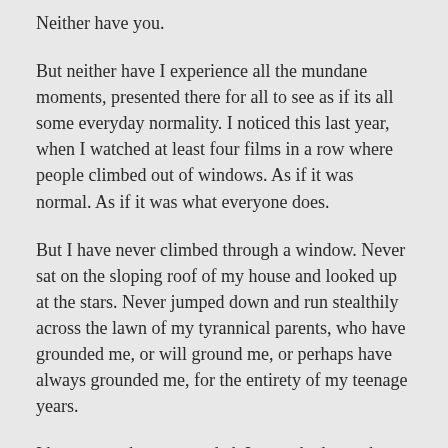Neither have you.
But neither have I experience all the mundane moments, presented there for all to see as if its all some everyday normality. I noticed this last year, when I watched at least four films in a row where people climbed out of windows. As if it was normal. As if it was what everyone does.
But I have never climbed through a window. Never sat on the sloping roof of my house and looked up at the stars. Never jumped down and run stealthily across the lawn of my tyrannical parents, who have grounded me, or will ground me, or perhaps have always grounded me, for the entirety of my teenage years.
I have never been grounded. I never had anywhere else to go. And now I'm 42 years old. I assume I never will be grounded. I have missed my chance. Unless this whole year